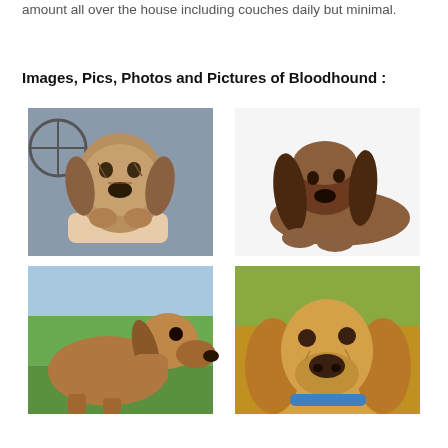amount all over the house including couches daily but minimal.
Images, Pics, Photos and Pictures of Bloodhound :
[Figure (photo): Bloodhound puppy face close-up being held in hands, outdoor background with wagon wheel]
[Figure (photo): Bloodhound puppy lying down on white surface, side/front view]
[Figure (photo): Adult Bloodhound side profile outdoors with green grass and trees background]
[Figure (photo): Adult Bloodhound face close-up looking up, autumn foliage background, wearing blue collar]